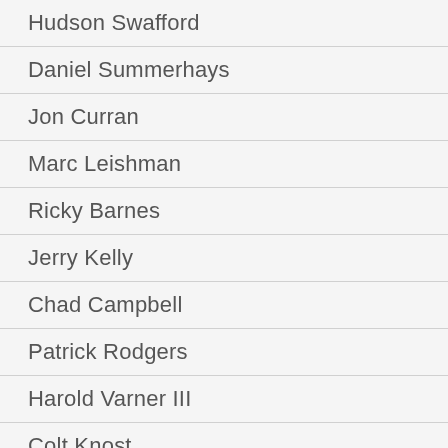Hudson Swafford
Daniel Summerhays
Jon Curran
Marc Leishman
Ricky Barnes
Jerry Kelly
Chad Campbell
Patrick Rodgers
Harold Varner III
Colt Knost
Scott Brown